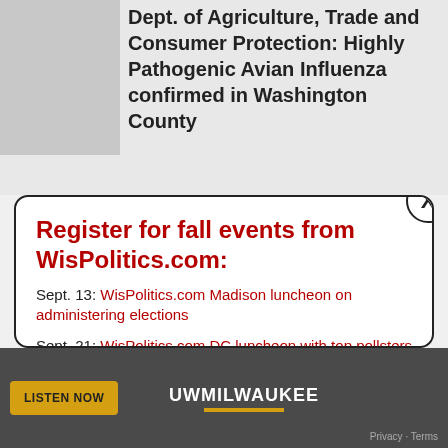Dept. of Agriculture, Trade and Consumer Protection: Highly Pathogenic Avian Influenza confirmed in Washington County
Register for fall events from WisPolitics.com:
Sept. 13: WisPolitics.com Madison luncheon on administering elections
Sept. 21: WisPolitics.com DC luncheon with top pollsters on the November election
Sept. 29: Annual WisPolitics.com Midwest Polling Summit
Oct. 18: WisPolitics.com Madison luncheon on top legislative races